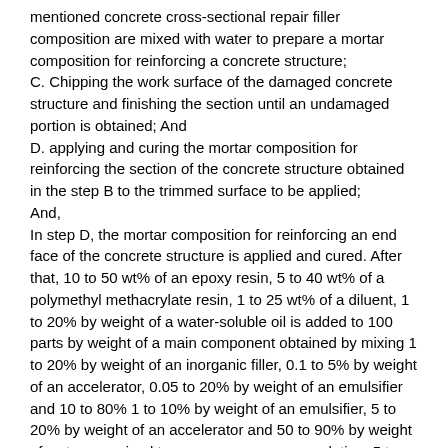mentioned concrete cross-sectional repair filler composition are mixed with water to prepare a mortar composition for reinforcing a concrete structure;
C. Chipping the work surface of the damaged concrete structure and finishing the section until an undamaged portion is obtained; And
D. applying and curing the mortar composition for reinforcing the section of the concrete structure obtained in the step B to the trimmed surface to be applied;
And,
In step D, the mortar composition for reinforcing an end face of the concrete structure is applied and cured. After that, 10 to 50 wt% of an epoxy resin, 5 to 40 wt% of a polymethyl methacrylate resin, 1 to 25 wt% of a diluent, 1 to 20% by weight of a water-soluble oil is added to 100 parts by weight of a main component obtained by mixing 1 to 20% by weight of an inorganic filler, 0.1 to 5% by weight of an accelerator, 0.05 to 20% by weight of an emulsifier and 10 to 80% 1 to 10% by weight of an emulsifier, 5 to 20% by weight of an accelerator and 50 to 90% by weight of water are mixed to prepare an aqueous solution. 5 to 50 parts by weight of a polyamide and 0.1 to 40% And 5 to 50 parts by weight of a curing agent component obtained by mixing the epoxy resin and the epoxy resin in an amount of 5 to 50 parts by weight based on 100 parts by weight of the epoxy resin.